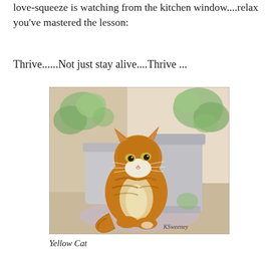love-squeeze is watching from the kitchen window....relax you've mastered the lesson:
Thrive......Not just stay alive....Thrive ...
[Figure (illustration): Watercolor painting of an orange tabby cat sitting outdoors near white garden pots with green plants in the background. Signed 'KSweeney' in the lower right corner.]
Yellow Cat